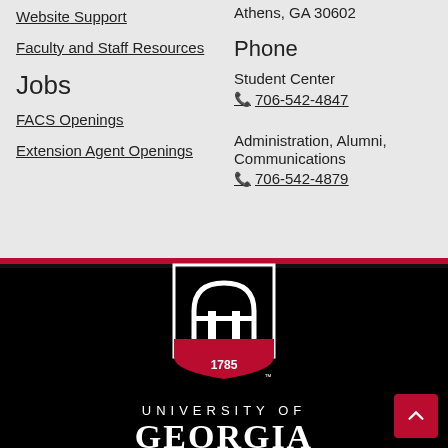Website Support
Faculty and Staff Resources
Jobs
FACS Openings
Extension Agent Openings
Athens, GA 30602
Phone
Student Center
706-542-4847
Administration, Alumni, Communications
706-542-4879
[Figure (logo): University of Georgia arch logo with 1785 date, white on black background, with UNIVERSITY OF GEORGIA text below]